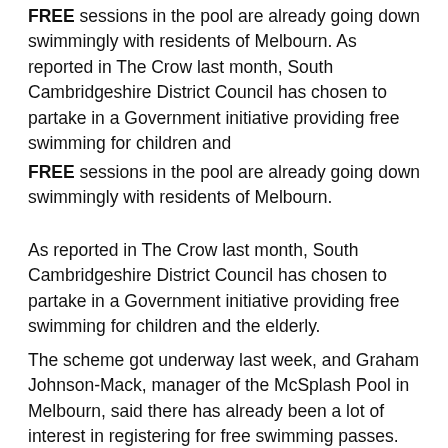FREE sessions in the pool are already going down swimmingly with residents of Melbourn. As reported in The Crow last month, South Cambridgeshire District Council has chosen to partake in a Government initiative providing free swimming for children and
FREE sessions in the pool are already going down swimmingly with residents of Melbourn.
As reported in The Crow last month, South Cambridgeshire District Council has chosen to partake in a Government initiative providing free swimming for children and the elderly.
The scheme got underway last week, and Graham Johnson-Mack, manager of the McSplash Pool in Melbourn, said there has already been a lot of interest in registering for free swimming passes.